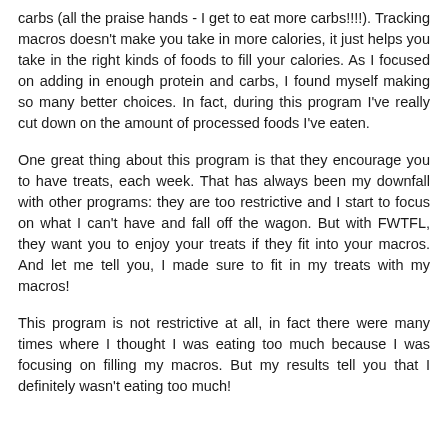carbs (all the praise hands - I get to eat more carbs!!!!). Tracking macros doesn't make you take in more calories, it just helps you take in the right kinds of foods to fill your calories. As I focused on adding in enough protein and carbs, I found myself making so many better choices. In fact, during this program I've really cut down on the amount of processed foods I've eaten.
One great thing about this program is that they encourage you to have treats, each week. That has always been my downfall with other programs: they are too restrictive and I start to focus on what I can't have and fall off the wagon. But with FWTFL, they want you to enjoy your treats if they fit into your macros. And let me tell you, I made sure to fit in my treats with my macros!
This program is not restrictive at all, in fact there were many times where I thought I was eating too much because I was focusing on filling my macros. But my results tell you that I definitely wasn't eating too much!